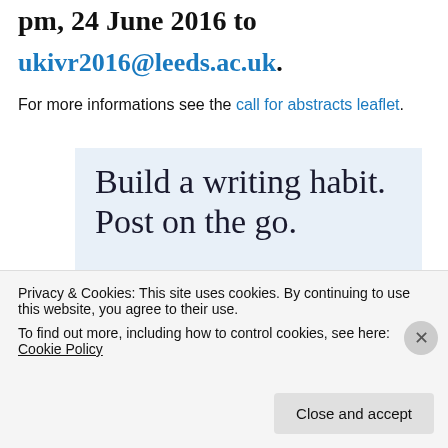pm, 24 June 2016 to
ukivr2016@leeds.ac.uk.
For more informations see the call for abstracts leaflet.
[Figure (illustration): WordPress app advertisement banner with text 'Build a writing habit. Post on the go.' and 'GET THE APP' with WordPress logo icon]
Privacy & Cookies: This site uses cookies. By continuing to use this website, you agree to their use. To find out more, including how to control cookies, see here: Cookie Policy